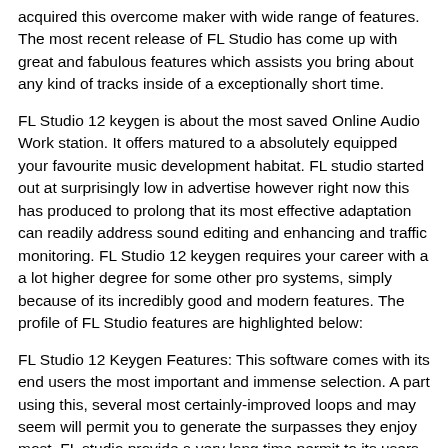acquired this overcome maker with wide range of features. The most recent release of FL Studio has come up with great and fabulous features which assists you bring about any kind of tracks inside of a exceptionally short time.
FL Studio 12 keygen is about the most saved Online Audio Work station. It offers matured to a absolutely equipped your favourite music development habitat. FL studio started out at surprisingly low in advertise however right now this has produced to prolong that its most effective adaptation can readily address sound editing and enhancing and traffic monitoring. FL Studio 12 keygen requires your career with a a lot higher degree for some other pro systems, simply because of its incredibly good and modern features. The profile of FL Studio features are highlighted below:
FL Studio 12 Keygen Features: This software comes with its end users the most important and immense selection. A part using this, several most certainly-improved loops and may seem will permit you to generate the surpasses they enjoy most. FL studio provide a very long time permit to its users. This will certainly encourage the individuals for a at no cost imminent posts and most advanced details about its features. It indicates users can email the sustain organization of FL studio in case of any query. With FL studio individuals can transfer and export MIDI information.